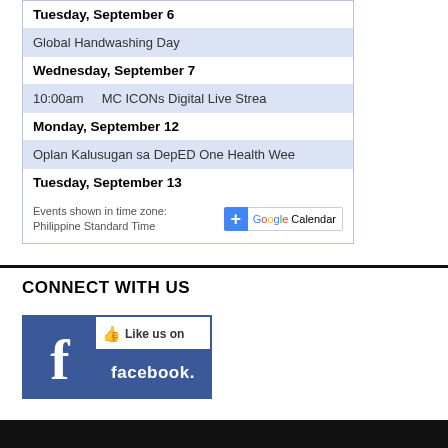Tuesday, September 6
Global Handwashing Day
Wednesday, September 7
10:00am   MC ICONs Digital Live Strea
Monday, September 12
Oplan Kalusugan sa DepED One Health Wee
Tuesday, September 13
Events shown in time zone: Philippine Standard Time
[Figure (logo): Google Calendar button with blue plus sign and Google Calendar text]
CONNECT WITH US
[Figure (logo): Facebook Like us on facebook badge with Facebook logo on the left and Like us on facebook text on the right]